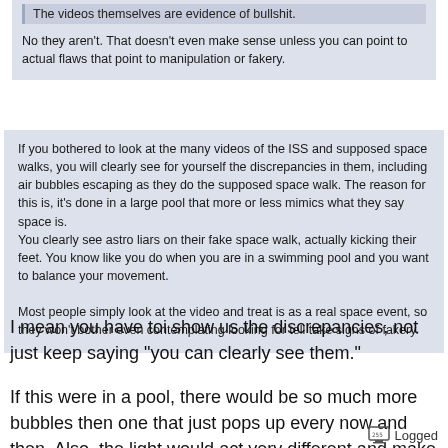The videos themselves are evidence of bullshit.
No they aren't. That doesn't even make sense unless you can point to actual flaws that point to manipulation or fakery.
If you bothered to look at the many videos of the ISS and supposed space walks, you will clearly see for yourself the discrepancies in them, including air bubbles escaping as they do the supposed space walk. The reason for this is, it's done in a large pool that more or less mimics what they say space is.
You clearly see astro liars on their fake space walk, actually kicking their feet. You know like you do when you are in a swimming pool and you want to balance your movement.

Most people simply look at the video and treat is as a real space event, so they won't bother even contemplating looking for tell take signs of fakery.
I mean you have toi show us the discrepancies, not just keep saying "you can clearly see them."
If this were in a pool, there would be so much more bubbles then one that just pops up every now and then. Also, the light would act very different and make it obvious.
Logged